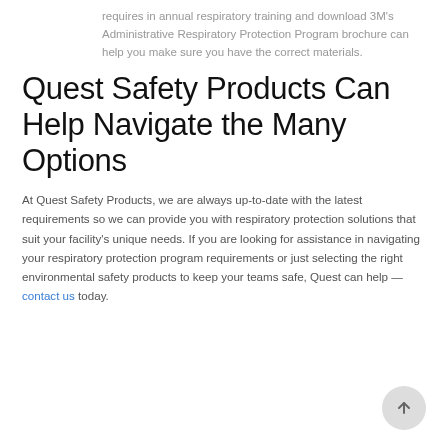requires in annual respiratory training and download 3M's Administrative Respiratory Protection Program brochure can help you make sure you have the correct materials.
Quest Safety Products Can Help Navigate the Many Options
At Quest Safety Products, we are always up-to-date with the latest requirements so we can provide you with respiratory protection solutions that suit your facility’s unique needs. If you are looking for assistance in navigating your respiratory protection program requirements or just selecting the right environmental safety products to keep your teams safe, Quest can help — contact us today.